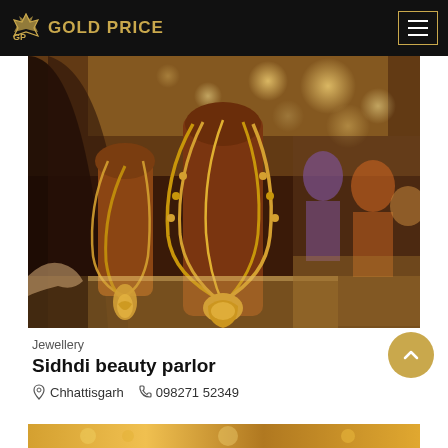GOLD PRICE
[Figure (photo): A jewelry store display showing gold necklaces on brown mannequin busts, with blurred background of a jewelry shop and customers]
Jewellery
Sidhdi beauty parlor
Chhattisgarh  098271 52349
[Figure (photo): Bottom strip showing gold jewelry, partially visible]